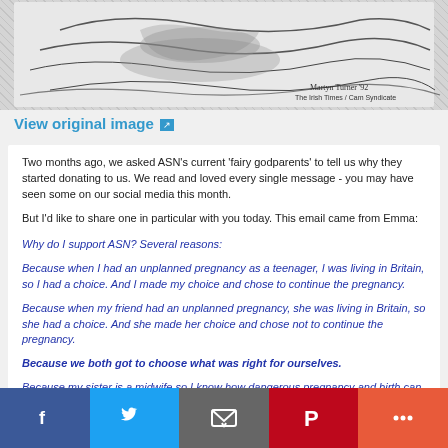[Figure (illustration): Partial sketch/cartoon illustration visible at top of page, black and white drawing. Signature reads 'Martyn Turner The Irish Times / Cam Syndicate']
View original image ↗
Two months ago, we asked ASN's current 'fairy godparents' to tell us why they started donating to us. We read and loved every single message - you may have seen some on our social media this month.
But I'd like to share one in particular with you today. This email came from Emma:
Why do I support ASN? Several reasons:
Because when I had an unplanned pregnancy as a teenager, I was living in Britain, so I had a choice. And I made my choice and chose to continue the pregnancy.
Because when my friend had an unplanned pregnancy, she was living in Britain, so she had a choice. And she made her choice and chose not to continue the pregnancy.
Because we both got to choose what was right for ourselves.
Because my sister is a midwife so I know how dangerous pregnancy and birth can be.
Because I believe in... But I believe in Britain and learned the...